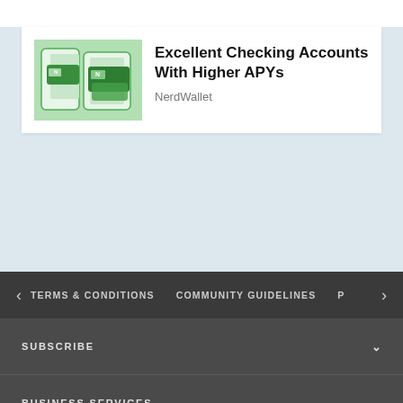[Figure (screenshot): NerdWallet app screenshot showing green credit cards on phone screens]
Excellent Checking Accounts With Higher APYs
NerdWallet
TERMS & CONDITIONS   COMMUNITY GUIDELINES   P
SUBSCRIBE
BUSINESS SERVICES
CONTACT US
READER SERVICES